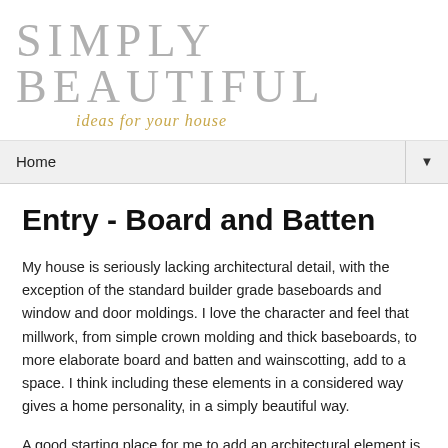SIMPLY BEAUTIFUL
ideas for your house
Home
Entry - Board and Batten
My house is seriously lacking architectural detail, with the exception of the standard builder grade baseboards and window and door moldings. I love the character and feel that millwork, from simple crown molding and thick baseboards, to more elaborate board and batten and wainscotting, add to a space. I think including these elements in a considered way gives a home personality, in a simply beautiful way.
A good starting place for me to add an architectural element is in my very plain entry way.  Specifically, installing board and batten will add some much needed architectural interest